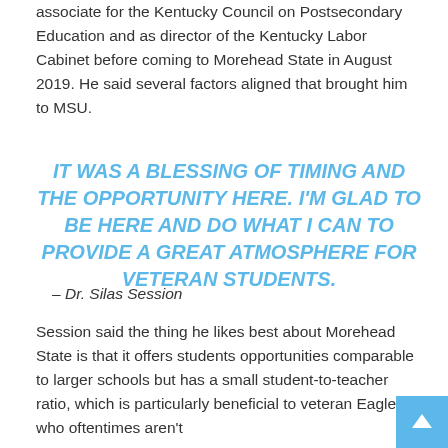associate for the Kentucky Council on Postsecondary Education and as director of the Kentucky Labor Cabinet before coming to Morehead State in August 2019. He said several factors aligned that brought him to MSU.
IT WAS A BLESSING OF TIMING AND THE OPPORTUNITY HERE. I'M GLAD TO BE HERE AND DO WHAT I CAN TO PROVIDE A GREAT ATMOSPHERE FOR VETERAN STUDENTS.
– Dr. Silas Session
Session said the thing he likes best about Morehead State is that it offers students opportunities comparable to larger schools but has a small student-to-teacher ratio, which is particularly beneficial to veteran Eagles who oftentimes aren't